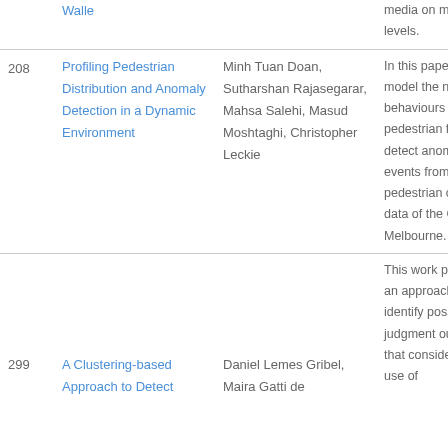| # | Title | Authors | Abstract |
| --- | --- | --- | --- |
|  | Walle |  | media on multiple levels. |
| 208 | Profiling Pedestrian Distribution and Anomaly Detection in a Dynamic Environment | Minh Tuan Doan, Sutharshan Rajasegarar, Mahsa Salehi, Masud Moshtaghi, Christopher Leckie | In this paper we model the normal behaviours of pedestrian flows and detect anomalous events from pedestrian counting data of the City of Melbourne. |
| 299 | A Clustering-based Approach to Detect | Daniel Lemes Gribel, Maira Gatti de | This work proposes an approach to identify possible judgment outcomes that considers the use of |